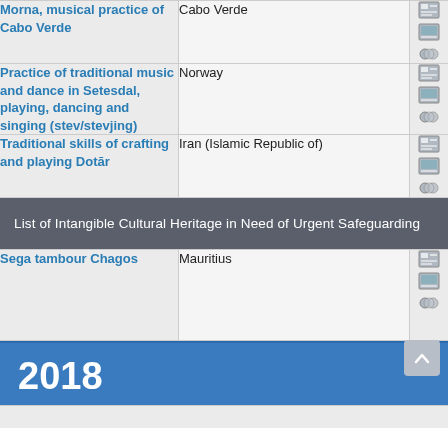| Element | Country | Icons |
| --- | --- | --- |
| Morna, musical practice of Cabo Verde | Cabo Verde |  |
| Practice of traditional music and dance in Setesdal, playing, dancing and singing (stev/stevjing) | Norway |  |
| Traditional skills of crafting and playing Dotār | Iran (Islamic Republic of) |  |
List of Intangible Cultural Heritage in Need of Urgent Safeguarding
| Element | Country | Icons |
| --- | --- | --- |
| Sega tambour Chagos | Mauritius |  |
2018